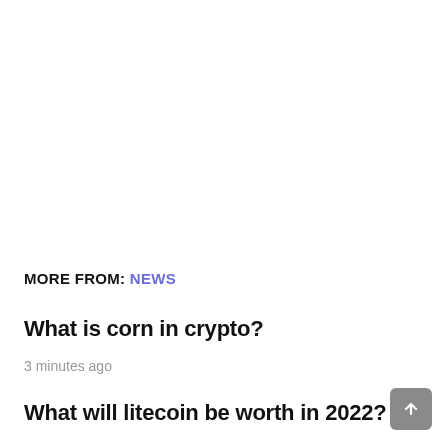MORE FROM: NEWS
What is corn in crypto?
3 minutes ago
What will litecoin be worth in 2022?